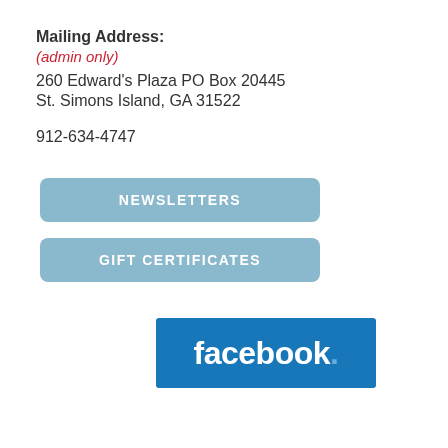Mailing Address:
(admin only)
260 Edward's Plaza PO Box 20445
St. Simons Island, GA 31522
912-634-4747
[Figure (other): Blue rounded button labeled NEWSLETTERS]
[Figure (other): Blue rounded button labeled GIFT CERTIFICATES]
[Figure (logo): Facebook logo — white lowercase 'facebook.' text on blue background]